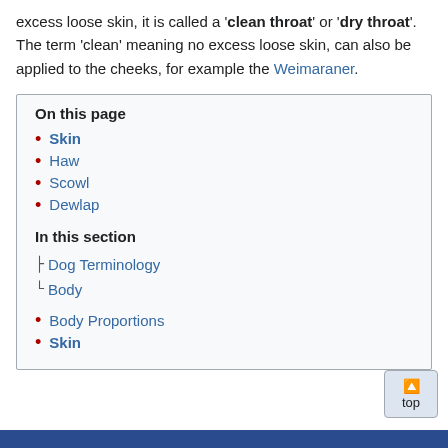excess loose skin, it is called a 'clean throat' or 'dry throat'. The term 'clean' meaning no excess loose skin, can also be applied to the cheeks, for example the Weimaraner.
On this page
Skin
Haw
Scowl
Dewlap
In this section
Dog Terminology
Body
Body Proportions
Skin